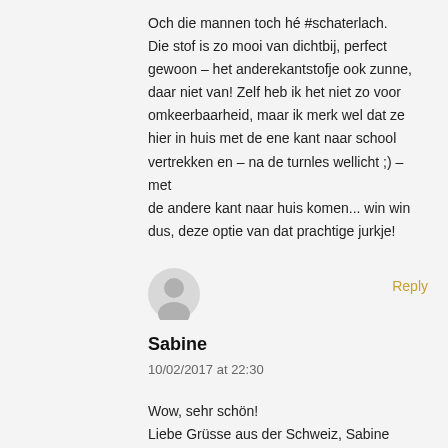Och die mannen toch hé #schaterlach. Die stof is zo mooi van dichtbij, perfect gewoon – het anderekantstofje ook zunne, daar niet van! Zelf heb ik het niet zo voor omkeerbaarheid, maar ik merk wel dat ze hier in huis met de ene kant naar school vertrekken en – na de turnles wellicht ;) – met de andere kant naar huis komen... win win dus, deze optie van dat prachtige jurkje!
[Figure (illustration): Generic user avatar icon — gray circle with silhouette of person]
Reply
Sabine
10/02/2017 at 22:30
Wow, sehr schön! Liebe Grüsse aus der Schweiz, Sabine